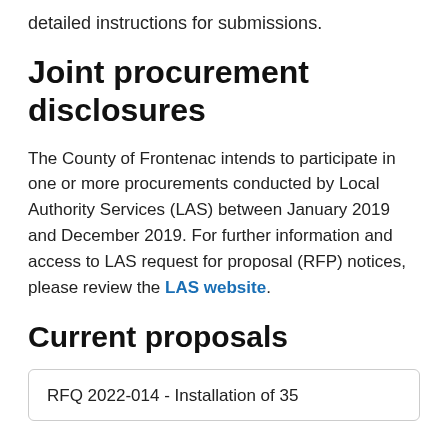detailed instructions for submissions.
Joint procurement disclosures
The County of Frontenac intends to participate in one or more procurements conducted by Local Authority Services (LAS) between January 2019 and December 2019. For further information and access to LAS request for proposal (RFP) notices, please review the LAS website.
Current proposals
RFQ 2022-014 - Installation of 35